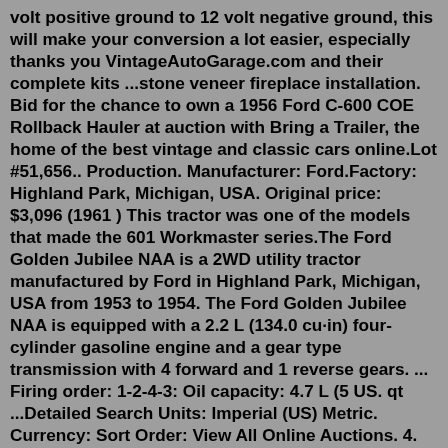volt positive ground to 12 volt negative ground, this will make your conversion a lot easier, especially thanks you VintageAutoGarage.com and their complete kits ...stone veneer fireplace installation. Bid for the chance to own a 1956 Ford C-600 COE Rollback Hauler at auction with Bring a Trailer, the home of the best vintage and classic cars online.Lot #51,656.. Production. Manufacturer: Ford.Factory: Highland Park, Michigan, USA. Original price: $3,096 (1961 ) This tractor was one of the models that made the 601 Workmaster series.The Ford Golden Jubilee NAA is a 2WD utility tractor manufactured by Ford in Highland Park, Michigan, USA from 1953 to 1954. The Ford Golden Jubilee NAA is equipped with a 2.2 L (134.0 cu·in) four-cylinder gasoline engine and a gear type transmission with 4 forward and 1 reverse gears. ... Firing order: 1-2-4-3: Oil capacity: 4.7 L (5 US. qt ...Detailed Search Units: Imperial (US) Metric. Currency: Sort Order: View All Online Auctions. 4. FORD 601 WORKMASTER... FORD 601 Workmaster Tractor. WE 3pt. Decent rubber